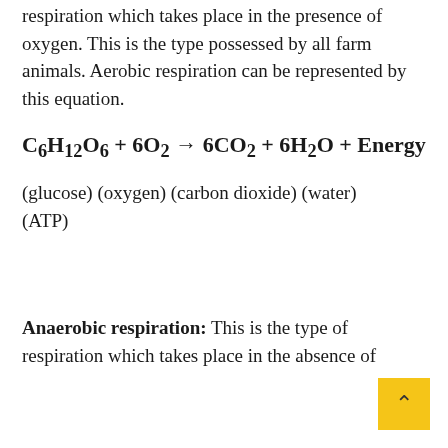Aerobic respiration: This is the type of respiration which takes place in the presence of oxygen. This is the type possessed by all farm animals. Aerobic respiration can be represented by this equation.
(glucose) (oxygen) (carbon dioxide) (water) (ATP)
Anaerobic respiration: This is the type of respiration which takes place in the absence of